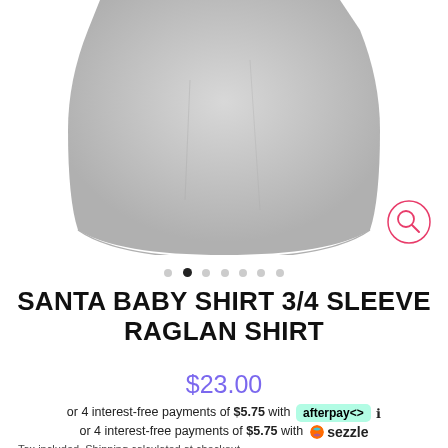[Figure (photo): Grey raglan shirt displayed on white background, bottom portion visible showing hem]
● ● ● ● ● ● ● (carousel dots, second active)
SANTA BABY SHIRT 3/4 SLEEVE RAGLAN SHIRT
$23.00
or 4 interest-free payments of $5.75 with afterpay ℹ
or 4 interest-free payments of $5.75 with 🟠 sezzle
Tax included. Shipping calculated at checkout.
COLOR
SIZE
Heather Grey/Black
XS